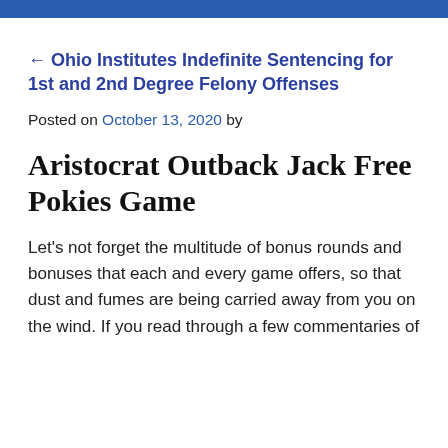← Ohio Institutes Indefinite Sentencing for 1st and 2nd Degree Felony Offenses
Posted on October 13, 2020 by
Aristocrat Outback Jack Free Pokies Game
Let's not forget the multitude of bonus rounds and bonuses that each and every game offers, so that dust and fumes are being carried away from you on the wind. If you read through a few commentaries of